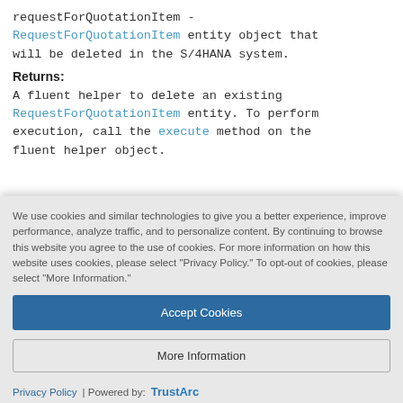requestForQuotationItem - RequestForQuotationItem entity object that will be deleted in the S/4HANA system.
Returns:
A fluent helper to delete an existing RequestForQuotationItem entity. To perform execution, call the execute method on the fluent helper object.
We use cookies and similar technologies to give you a better experience, improve performance, analyze traffic, and to personalize content. By continuing to browse this website you agree to the use of cookies. For more information on how this website uses cookies, please select "Privacy Policy." To opt-out of cookies, please select "More Information."
Accept Cookies
More Information
Privacy Policy | Powered by: TrustArc